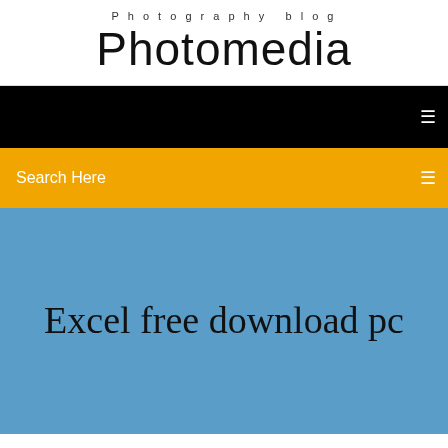Photography blog
Photomedia
[Figure (screenshot): Black navigation bar with a small white icon on the right]
Search Here
Excel free download pc